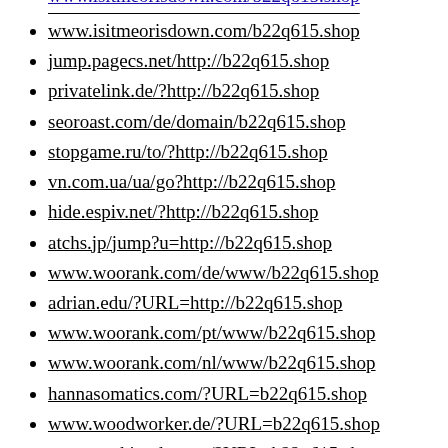www.isitmeorisdown.com/b22q615.shop
jump.pagecs.net/http://b22q615.shop
privatelink.de/?http://b22q615.shop
seoroast.com/de/domain/b22q615.shop
stopgame.ru/to/?http://b22q615.shop
vn.com.ua/ua/go?http://b22q615.shop
hide.espiv.net/?http://b22q615.shop
atchs.jp/jump?u=http://b22q615.shop
www.woorank.com/de/www/b22q615.shop
adrian.edu/?URL=http://b22q615.shop
www.woorank.com/pt/www/b22q615.shop
www.woorank.com/nl/www/b22q615.shop
hannasomatics.com/?URL=b22q615.shop
www.woodworker.de/?URL=b22q615.shop
www.onekingdom.us/?URL=b22q615.shop
www.woorank.com/en/www/b22q615.shop
lifeyogaworld.com/?URL=b22q615.shop
24net.kz/go?url=http://b22q615.shop